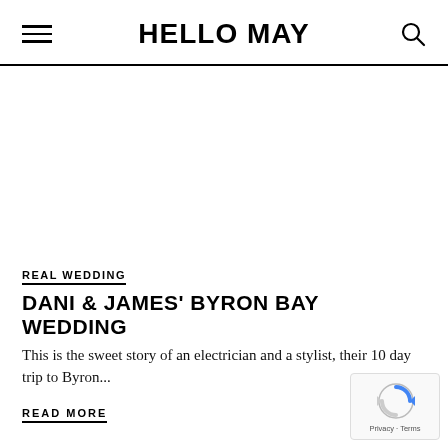HELLO MAY
[Figure (other): Large white/blank image area (wedding photo not loaded)]
REAL WEDDING
DANI & JAMES' BYRON BAY WEDDING
This is the sweet story of an electrician and a stylist, their 10 day trip to Byron...
READ MORE